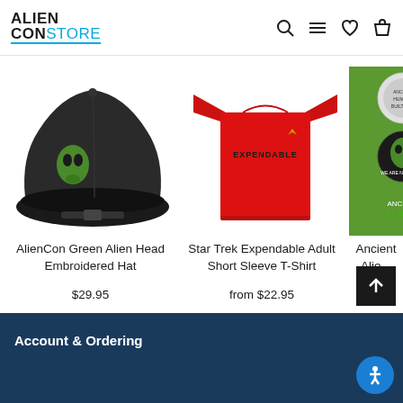ALIEN CON STORE
[Figure (photo): Black baseball cap with green alien head embroidered on front]
AlienCon Green Alien Head Embroidered Hat
$29.95
[Figure (photo): Red Star Trek Expendable adult short sleeve t-shirt]
Star Trek Expendable Adult Short Sleeve T-Shirt
from $22.95
[Figure (photo): Ancient Aliens sticker pack on green background, partially visible]
Ancient Alie... Sticker...
$9...
Account & Ordering